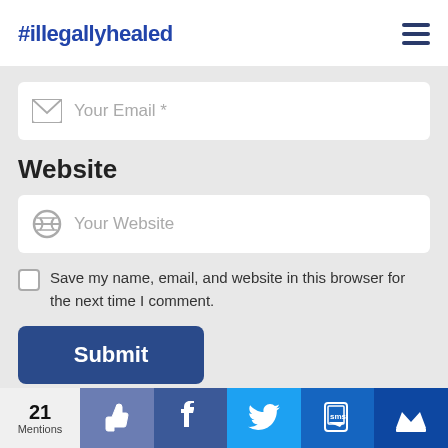#illegallyhealed
[Figure (screenshot): Email input field with envelope icon and placeholder 'Your Email *']
Website
[Figure (screenshot): Website input field with link icon and placeholder 'Your Website']
Save my name, email, and website in this browser for the next time I comment.
[Figure (screenshot): Submit button (dark blue, rounded)]
21 Mentions | thumbs-up | f | Twitter | SMS | crown icons